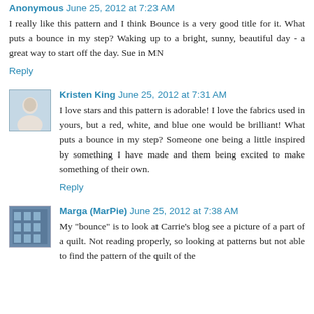Anonymous June 25, 2012 at 7:23 AM
I really like this pattern and I think Bounce is a very good title for it. What puts a bounce in my step? Waking up to a bright, sunny, beautiful day - a great way to start off the day. Sue in MN
Reply
Kristen King June 25, 2012 at 7:31 AM
I love stars and this pattern is adorable! I love the fabrics used in yours, but a red, white, and blue one would be brilliant! What puts a bounce in my step? Someone one being a little inspired by something I have made and them being excited to make something of their own.
Reply
Marga (MarPie) June 25, 2012 at 7:38 AM
My "bounce" is to look at Carrie's blog see a picture of a part of a quilt. Not reading properly, so looking at patterns but not able to find the pattern of the quilt of the